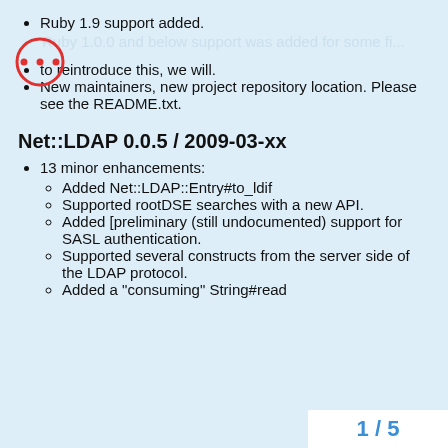Ruby 1.9 support added.
[blurred/obscured list item]
to reintroduce this, we will.
New maintainers, new project repository location. Please see the README.txt.
Net::LDAP 0.0.5 / 2009-03-xx
13 minor enhancements:
Added Net::LDAP::Entry#to_ldif
Supported rootDSE searches with a new API.
Added [preliminary (still undocumented) support for SASL authentication.
Supported several constructs from the server side of the LDAP protocol.
Added a "consuming" String#read
1 / 5